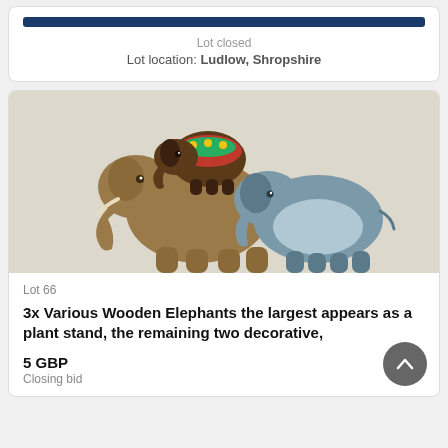Lot closed
Lot location: Ludlow, Shropshire
[Figure (photo): Three wooden elephant figurines stacked/grouped together: a large plain brown wooden elephant, a smaller decorative elephant with painted colorful saddle (red, green, gold), and a blue-grey painted elephant in the foreground.]
Lot 66
3x Various Wooden Elephants the largest appears as a plant stand, the remaining two decorative,
5 GBP
Closing bid